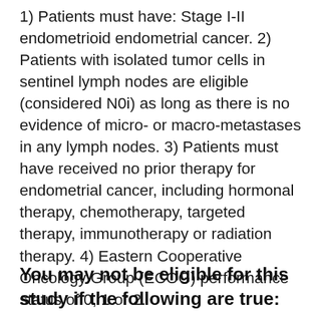1) Patients must have: Stage I-II endometrioid endometrial cancer. 2) Patients with isolated tumor cells in sentinel lymph nodes are eligible (considered N0i) as long as there is no evidence of micro- or macro-metastases in any lymph nodes. 3) Patients must have received no prior therapy for endometrial cancer, including hormonal therapy, chemotherapy, targeted therapy, immunotherapy or radiation therapy. 4) Eastern Cooperative Oncology Group (ECOG) performance status of 0, 1 or 2.
You may not be eligible for this study if the following are true: